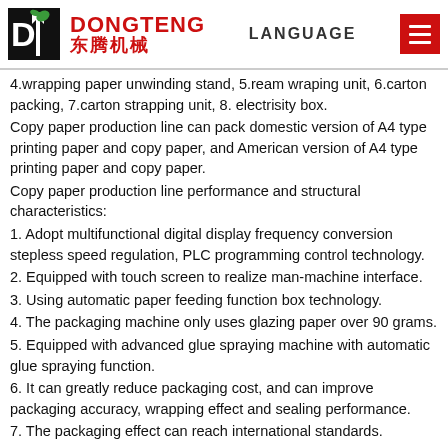DONGTENG 东腾机械 — LANGUAGE
4.wrapping paper unwinding stand, 5.ream wraping unit, 6.carton packing, 7.carton strapping unit, 8. electrisity box.
Copy paper production line can pack domestic version of A4 type printing paper and copy paper, and American version of A4 type printing paper and copy paper.
Copy paper production line performance and structural characteristics:
1. Adopt multifunctional digital display frequency conversion stepless speed regulation, PLC programming control technology.
2. Equipped with touch screen to realize man-machine interface.
3. Using automatic paper feeding function box technology.
4. The packaging machine only uses glazing paper over 90 grams.
5. Equipped with advanced glue spraying machine with automatic glue spraying function.
6. It can greatly reduce packaging cost, and can improve packaging accuracy, wrapping effect and sealing performance.
7. The packaging effect can reach international standards.